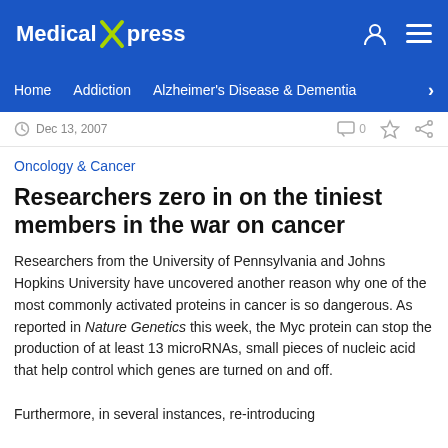Medical Xpress
Home  Addiction  Alzheimer's Disease & Dementia
Dec 13, 2007
Oncology & Cancer
Researchers zero in on the tiniest members in the war on cancer
Researchers from the University of Pennsylvania and Johns Hopkins University have uncovered another reason why one of the most commonly activated proteins in cancer is so dangerous. As reported in Nature Genetics this week, the Myc protein can stop the production of at least 13 microRNAs, small pieces of nucleic acid that help control which genes are turned on and off.
Furthermore, in several instances, re-introducing